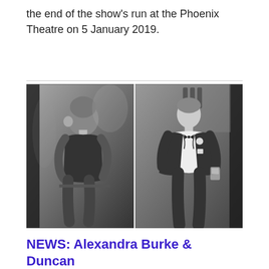the end of the show's run at the Phoenix Theatre on 5 January 2019.
[Figure (photo): Black and white promotional photo showing two people side by side: on the left, a woman in a black lace dress posing thoughtfully; on the right, a man in a tuxedo holding a glass.]
NEWS: Alexandra Burke & Duncan